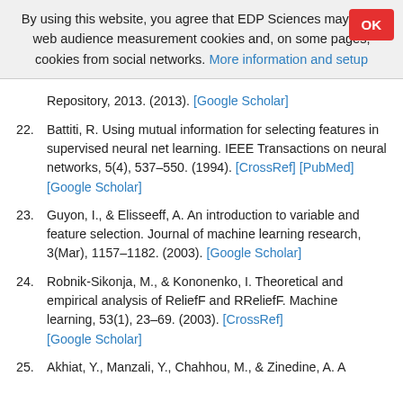By using this website, you agree that EDP Sciences may store web audience measurement cookies and, on some pages, cookies from social networks. More information and setup
Repository, 2013. (2013). [Google Scholar]
22. Battiti, R. Using mutual information for selecting features in supervised neural net learning. IEEE Transactions on neural networks, 5(4), 537–550. (1994). [CrossRef] [PubMed] [Google Scholar]
23. Guyon, I., & Elisseeff, A. An introduction to variable and feature selection. Journal of machine learning research, 3(Mar), 1157–1182. (2003). [Google Scholar]
24. Robnik-Sikonja, M., & Kononenko, I. Theoretical and empirical analysis of ReliefF and RReliefF. Machine learning, 53(1), 23–69. (2003). [CrossRef] [Google Scholar]
25. Akhiat, Y., Manzali, Y., Chahhou, M., & Zinedine, A. A